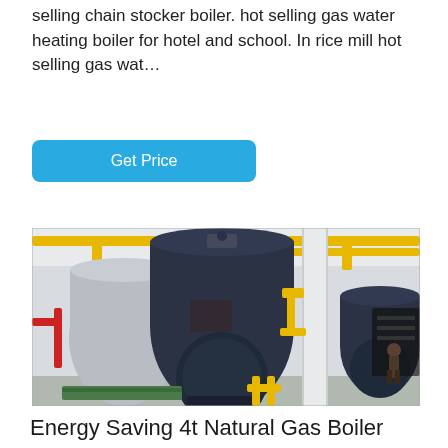selling chain stocker boiler. hot selling gas water heating boiler for hotel and school. In rice mill hot selling gas wat...
[Figure (other): Button labeled 'Get Price' with cyan/blue background and rounded corners]
[Figure (photo): Industrial boiler room with large dark blue cylindrical gas boilers, yellow overhead piping, white structural columns, and red accent pipes. A worker is visible in the right background.]
Energy Saving 4t Natural Gas Boiler Lithuania